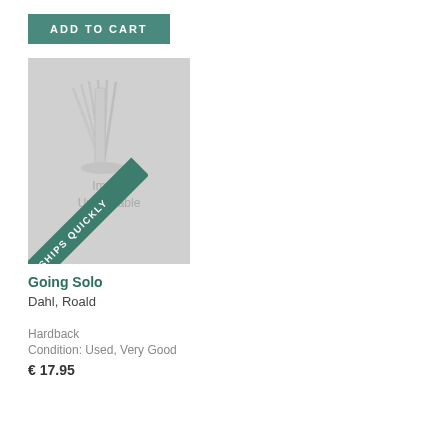ADD TO CART
[Figure (illustration): Book cover placeholder image with a stylized open book icon on gray background, overlaid with a diagonal teal banner reading SHIPS QUICKLY and gray text showing Image Unavailable]
Going Solo
Dahl, Roald
Hardback
Condition: Used, Very Good
€ 17.95